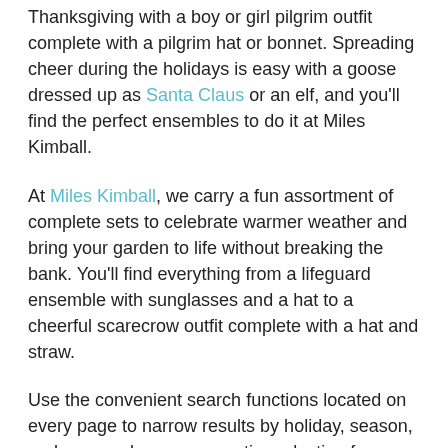Thanksgiving with a boy or girl pilgrim outfit complete with a pilgrim hat or bonnet. Spreading cheer during the holidays is easy with a goose dressed up as Santa Claus or an elf, and you'll find the perfect ensembles to do it at Miles Kimball.
At Miles Kimball, we carry a fun assortment of complete sets to celebrate warmer weather and bring your garden to life without breaking the bank. You'll find everything from a lifeguard ensemble with sunglasses and a hat to a cheerful scarecrow outfit complete with a hat and straw.
Use the convenient search functions located on every page to narrow results by holiday, season, and more or browse our entire selection for new and fun outfit ideas to show your love for this adorable goose dressing sensation.